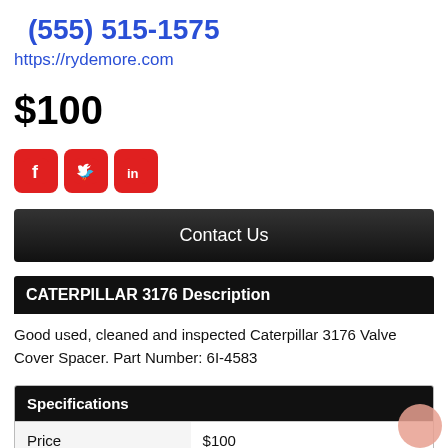(555) 515-1575
https://rydemore.com
$100
[Figure (other): Social media icons: Facebook, Twitter, LinkedIn — all with red square rounded backgrounds and white logos]
Contact Us
CATERPILLAR 3176 Description
Good used, cleaned and inspected Caterpillar 3176 Valve Cover Spacer. Part Number: 6I-4583
| Specifications |  |
| --- | --- |
| Price | $100 |
| Stock # | 1011234 |